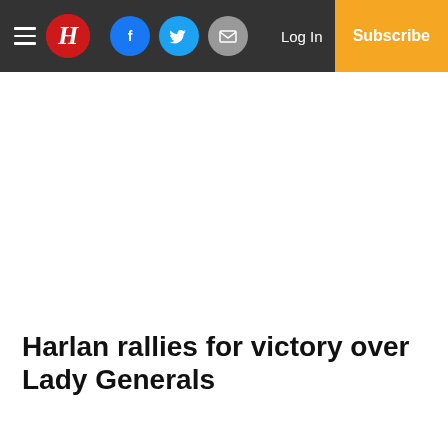H | Facebook | Twitter | Email | Log In | Subscribe
Harlan rallies for victory over Lady Generals